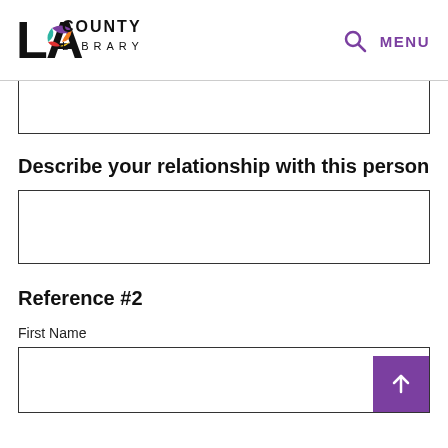LA COUNTY LIBRARY | MENU
Describe your relationship with this person
Reference #2
First Name